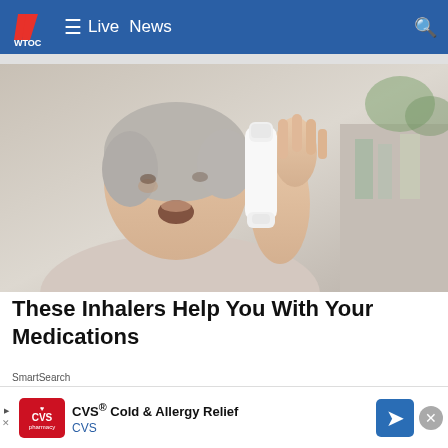WTOC  ≡  Live  News  🔍
[Figure (photo): Older woman with short gray hair using an asthma inhaler, mouth open, holding inhaler up to her mouth with one hand]
These Inhalers Help You With Your Medications
SmartSearch
[Figure (logo): CVS Pharmacy logo in red box with heart icon, advertisement for CVS Cold & Allergy Relief]